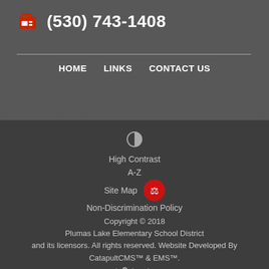(530) 743-1408
HOME   LINKS   CONTACT US
High Contrast
A-Z
Site Map
Non-Discrimination Policy
Copyright © 2018 Plumas Lake Elementary School District and its licensors. All rights reserved. Website Developed By CatapultCMS™ & EMS™. | Log In